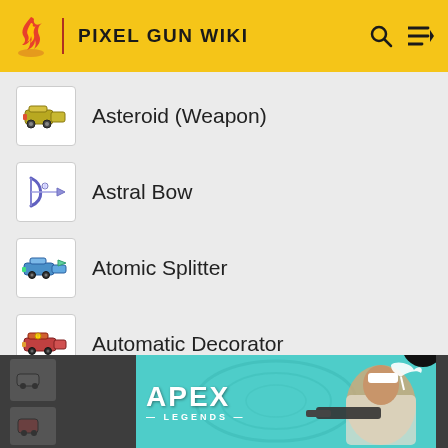PIXEL GUN WIKI
Asteroid (Weapon)
Astral Bow
Atomic Splitter
Automatic Decorator
[Figure (illustration): Apex Legends advertisement banner with a character holding a sniper rifle and a white flying creature, teal background with APEX LEGENDS text]
[Figure (screenshot): Dark section with partial list items and close button overlay]